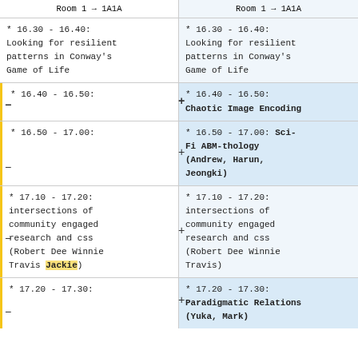| Room 1 → 1A1A | Room 1 → 1A1A |
| --- | --- |
| * 16.30 - 16.40: Looking for resilient patterns in Conway's Game of Life | * 16.30 - 16.40: Looking for resilient patterns in Conway's Game of Life |
| * 16.40 - 16.50: | * 16.40 - 16.50: Chaotic Image Encoding |
| * 16.50 - 17.00: | * 16.50 - 17.00: Sci-Fi ABM-thology (Andrew, Harun, Jeongki) |
| * 17.10 - 17.20: intersections of community engaged research and css (Robert Dee Winnie Travis Jackie) | * 17.10 - 17.20: intersections of community engaged research and css (Robert Dee Winnie Travis) |
| * 17.20 - 17.30: | * 17.20 - 17.30: Paradigmatic Relations (Yuka, Mark) |